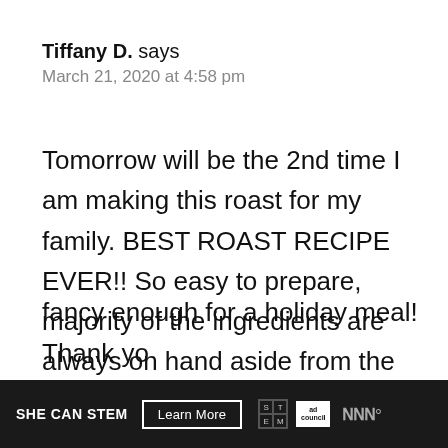Tiffany D. says
March 21, 2020 at 4:58 pm
Tomorrow will be the 2nd time I am making this roast for my family. BEST ROAST RECIPE EVER!! So easy to prepare, majority of the ingredients are always on hand aside from the roast itself. So juicy and delicious. We can’t get enough! Simple enough for a Sunday dinner or fancy enough for a holiday meal! Thank yo
[Figure (infographic): Dark advertisement banner at bottom: SHE CAN STEM logo, Learn More button, STEM grid logo, Ad Council logo, iw logo]